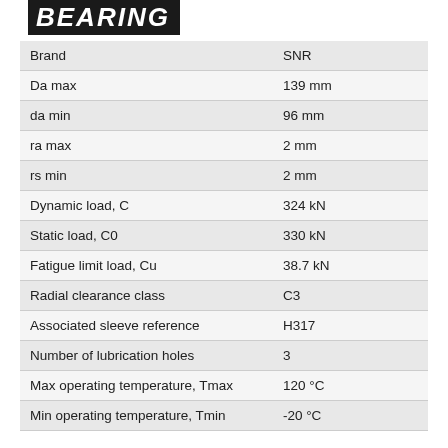BEARING
| Property | Value |
| --- | --- |
| Brand | SNR |
| Da max | 139 mm |
| da min | 96 mm |
| ra max | 2 mm |
| rs min | 2 mm |
| Dynamic load, C | 324 kN |
| Static load, C0 | 330 kN |
| Fatigue limit load, Cu | 38.7 kN |
| Radial clearance class | C3 |
| Associated sleeve reference | H317 |
| Number of lubrication holes | 3 |
| Max operating temperature, Tmax | 120 °C |
| Min operating temperature, Tmin | -20 °C |